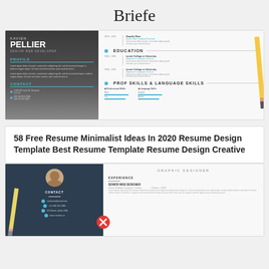Briefe
[Figure (screenshot): Resume template preview showing KAVIEN PELLIER, Senior Web Developer. Dark left sidebar with profile and contact sections, light right side with education and skills sections. A pencil is visible at the right edge.]
58 Free Resume Minimalist Ideas In 2020 Resume Design Template Best Resume Template Resume Design Creative
[Figure (screenshot): Graphic Designer resume template preview with dark navy left sidebar showing circular avatar photo, contact section, and right side showing experience section with Senior Web Designer role at Crown Software Company / London, Present - 2019. An error/close icon overlay and a pencil are visible.]